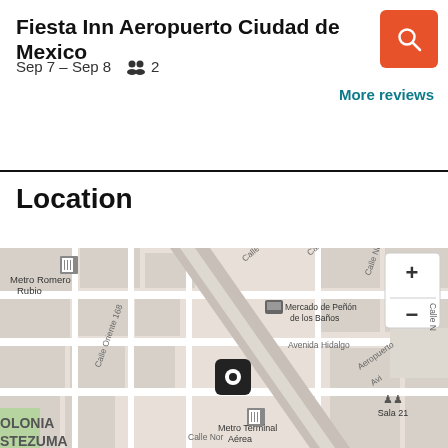Fiesta Inn Aeropuerto Ciudad de Mexico
Sep 7 – Sep 8   👥 2
More reviews
Location
[Figure (map): Street map showing the area around Fiesta Inn Aeropuerto Ciudad de Mexico, with streets labeled: Calle China, Calle Norte 176, Calle Oriente 168, Avenida Hidalgo, Aeropuerto Avi. Landmarks include Metro Romero Rubio, Mercado de Peñón de los Baños, Metro Terminal Aérea, Sala 21. A location pin marks the hotel. Map includes zoom +/- controls in top right.]